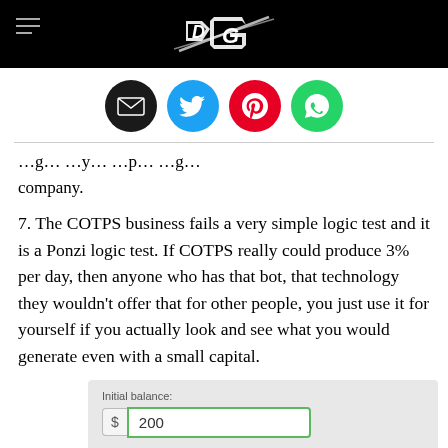Daily Geek [logo]
[Figure (infographic): Social share icons: email (black), Twitter (blue), Pinterest (red), WhatsApp (green)]
company.
7. The COTPS business fails a very simple logic test and it is a Ponzi logic test. If COTPS really could produce 3% per day, then anyone who has that bot, that technology they wouldn't offer that for other people, you just use it for yourself if you actually look and see what you would generate even with a small capital.
[Figure (screenshot): Calculator widget showing: Initial balance: $200 (green outlined input), Interest rate: 3 % daily (dropdown), Years: 1, Months: 1]